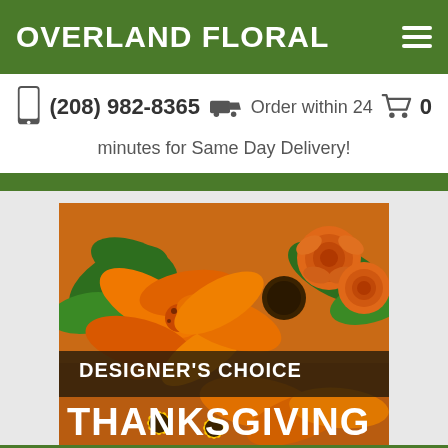OVERLAND FLORAL
(208) 982-8365   Order within 24 minutes for Same Day Delivery!   0
[Figure (photo): Floral arrangement photo showing orange lilies, orange roses, yellow sunflowers and green foliage with text overlay reading DESIGNER'S CHOICE THANKSGIVING]
CALL   MAP   HOURS